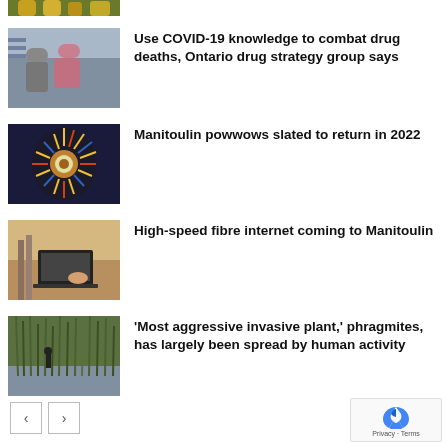[Figure (photo): Partial top image showing yellow flowers or similar, cropped]
[Figure (photo): Two people sitting together, one in a grey hoodie, one in pink]
Use COVID-19 knowledge to combat drug deaths, Ontario drug strategy group says
[Figure (photo): Colourful indigenous regalia or dream catcher with feathers]
Manitoulin powwows slated to return in 2022
[Figure (photo): Person using a laptop computer on a wooden surface]
High-speed fibre internet coming to Manitoulin
[Figure (photo): Person standing in a wetland with tall grass (phragmites)]
'Most aggressive invasive plant,' phragmites, has largely been spread by human activity